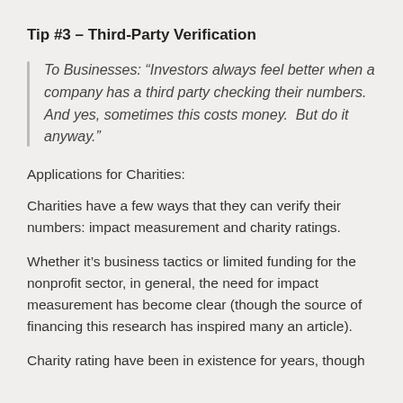Tip #3 – Third-Party Verification
To Businesses: “Investors always feel better when a company has a third party checking their numbers. And yes, sometimes this costs money.  But do it anyway.”
Applications for Charities:
Charities have a few ways that they can verify their numbers: impact measurement and charity ratings.
Whether it’s business tactics or limited funding for the nonprofit sector, in general, the need for impact measurement has become clear (though the source of financing this research has inspired many an article).
Charity rating have been in existence for years, though